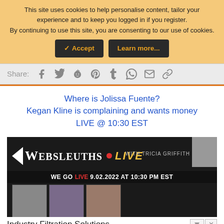This site uses cookies to help personalise content, tailor your experience and to keep you logged in if you register.
By continuing to use this site, you are consenting to our use of cookies.
✓ Accept   Learn more...
Share:
Where is Jolissa Fuente?
Kegan Kline is complaining and wants money
LIVE @ 10:30 EST
[Figure (screenshot): Websleuths Live with Tricia Griffith banner. Text says WE GO LIVE 9.02.2022 AT 10:30 PM EST with photos of three people.]
Industry Filtration Solutions
Get Quote
Ad